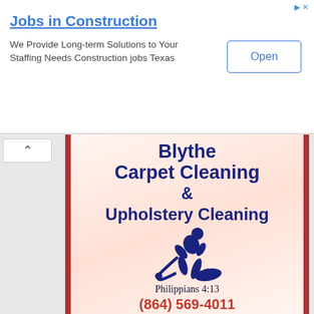[Figure (screenshot): Advertisement banner for 'Jobs in Construction' with blue title, tagline text, and Open button]
Jobs in Construction
We Provide Long-term Solutions to Your Staffing Needs Construction jobs Texas
[Figure (logo): Blythe Carpet Cleaning & Upholstery Cleaning business advertisement card with dark red borders, gradient background, large navy blue bold text, silhouette of person using carpet cleaning machine, Philippians 4:13 verse, and phone number (864) 569-4011 in red]
Blythe Carpet Cleaning & Upholstery Cleaning
Philippians 4:13
(864) 569-4011